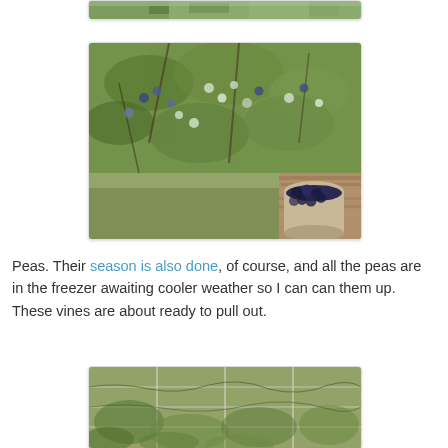[Figure (photo): Partial view of a photo at the top of the page, cropped — appears to be an outdoor garden/nature scene]
[Figure (photo): Photo of blueberry bushes with green and ripening blueberries, and a container of picked blueberries on a wooden surface in the lower right]
Peas. Their season is also done, of course, and all the peas are in the freezer awaiting cooler weather so I can can them up. These vines are about ready to pull out.
[Figure (photo): Photo showing garden vines on a trellis or wire fence, partially cropped at bottom of page]